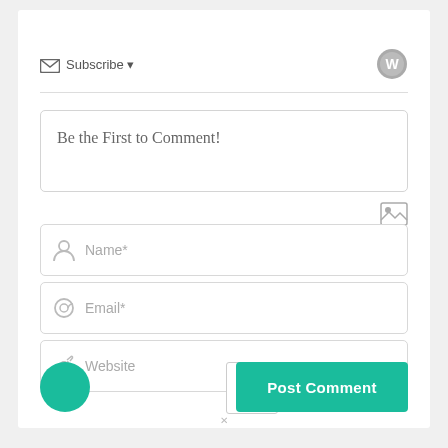[Figure (screenshot): Subscribe bar with envelope icon, 'Subscribe' text, dropdown arrow, and WordPress circular icon on the right]
[Figure (screenshot): Comment text area with placeholder text 'Be the First to Comment!']
[Figure (screenshot): Image icon button (landscape icon)]
[Figure (screenshot): Name input field with person icon and 'Name*' placeholder]
[Figure (screenshot): Email input field with @ icon and 'Email*' placeholder]
[Figure (screenshot): Website input field with link icon and 'Website' placeholder]
[Figure (screenshot): Green teal circle avatar on left, notification mute button in center, and 'Post Comment' green button on right]